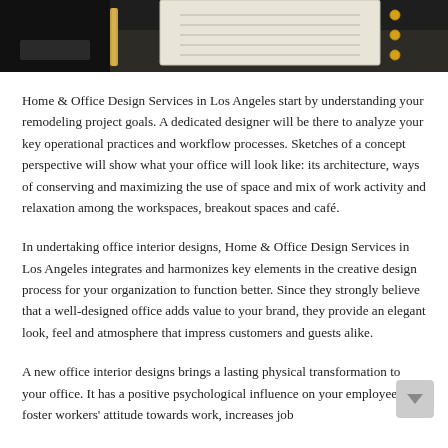[Figure (photo): Partial photo of a desk with a planner/binder, pen, and dark background — office/design context]
Home & Office Design Services in Los Angeles start by understanding your remodeling project goals. A dedicated designer will be there to analyze your key operational practices and workflow processes. Sketches of a concept perspective will show what your office will look like: its architecture, ways of conserving and maximizing the use of space and mix of work activity and relaxation among the workspaces, breakout spaces and café.
In undertaking office interior designs, Home & Office Design Services in Los Angeles integrates and harmonizes key elements in the creative design process for your organization to function better. Since they strongly believe that a well-designed office adds value to your brand, they provide an elegant look, feel and atmosphere that impress customers and guests alike.
A new office interior designs brings a lasting physical transformation to your office. It has a positive psychological influence on your employees, foster workers' attitude towards work, increases job satisfaction and stretches...